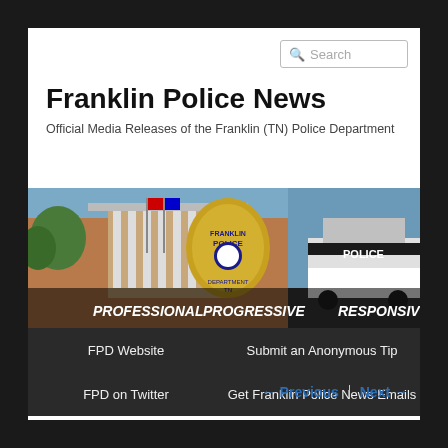[Figure (other): Search input box with magnifying glass icon and placeholder text 'Search']
Franklin Police News
Official Media Releases of the Franklin (TN) Police Department
[Figure (photo): Franklin Police Department banner image showing police headquarters building with columns and flags, a gold Franklin Police badge in the center, and a police cruiser on the right. Text overlays read: PROFESSIONAL, PROGRESSIVE, RESPONSIVE]
FPD Website
Submit an Anonymous Tip
FPD on Twitter
Get Franklin Police News Emails
← Previous   Next →